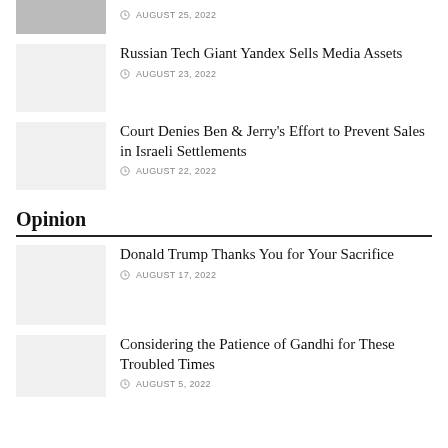[Figure (photo): Partial photo thumbnail at top left]
AUGUST 25, 2022
Russian Tech Giant Yandex Sells Media Assets
AUGUST 23, 2022
[Figure (photo): Gray placeholder thumbnail]
Court Denies Ben & Jerry's Effort to Prevent Sales in Israeli Settlements
AUGUST 22, 2022
[Figure (photo): Gray placeholder thumbnail]
Opinion
Donald Trump Thanks You for Your Sacrifice
AUGUST 17, 2022
[Figure (photo): Gray placeholder thumbnail]
Considering the Patience of Gandhi for These Troubled Times
AUGUST 5, 2022